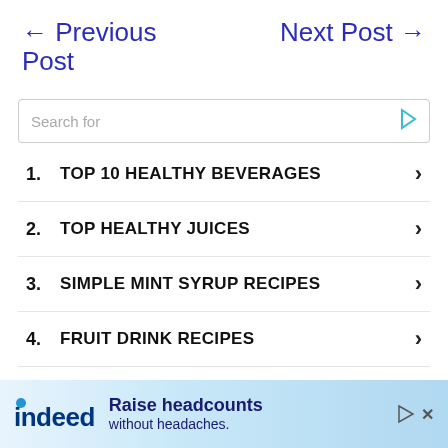← Previous Post    Next Post →
Search for
1. TOP 10 HEALTHY BEVERAGES
2. TOP HEALTHY JUICES
3. SIMPLE MINT SYRUP RECIPES
4. FRUIT DRINK RECIPES
5. FRUIT JUICE DRINK
Yahoo! Search | Sponsored
ezoic   report this ad
[Figure (infographic): Indeed advertisement banner: 'Raise headcounts without headaches.']